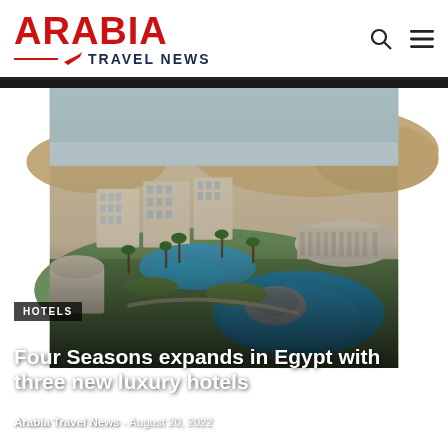ARABIA TRAVEL NEWS
[Figure (photo): Aerial view of a luxury hotel resort complex in Egypt with pools, landscaping, a lake, and modern architecture including dome structures, surrounded by desert landscape.]
HOTELS
Four Seasons expands in Egypt with three new luxury hotels
Arabia Travel News - August 20, 2022